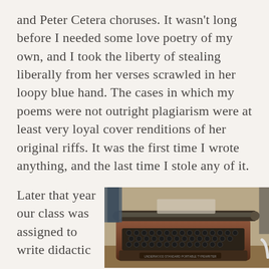and Peter Cetera choruses. It wasn't long before I needed some love poetry of my own, and I took the liberty of stealing liberally from her verses scrawled in her loopy blue hand. The cases in which my poems were not outright plagiarism were at least very loyal cover renditions of her original riffs. It was the first time I wrote anything, and the last time I stole any of it.
Later that year our class was assigned to write didactic
[Figure (photo): A vintage Underwood Standard Portable Typewriter sitting on a wooden desk surface, photographed from a slightly elevated angle. The typewriter has dark metal keys and a brown/copper-colored body. A white cable is visible to the right.]